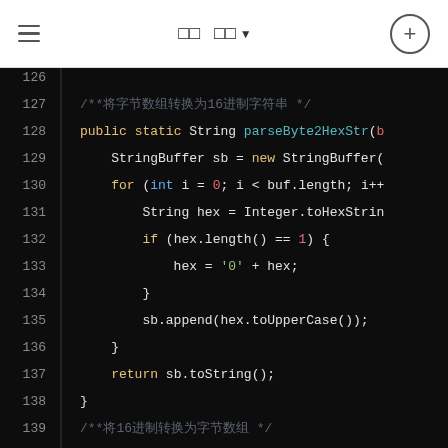≡   □□ □□▼   ⊕
[Figure (screenshot): Code editor showing Java method parseByte2HexStr and start of parseHexStr2Byte, lines 126-142, dark theme with syntax highlighting]